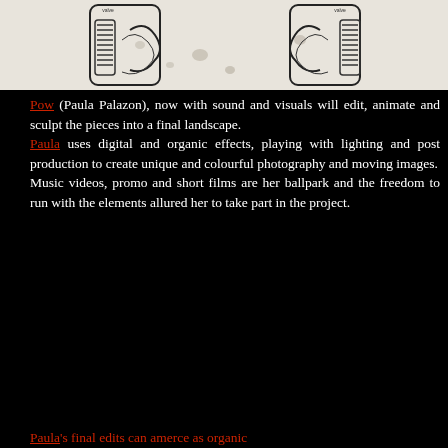[Figure (illustration): Black and white sketch/illustration of two mechanical or audio devices (possibly microphones or vintage equipment) with coiled wires, on a light background with ink spots.]
Pow (Paula Palazon), now with sound and visuals will edit, animate and sculpt the pieces into a final landscape. Paula uses digital and organic effects, playing with lighting and post production to create unique and colourful photography and moving images. Music videos, promo and short films are her ballpark and the freedom to run with the elements allured her to take part in the project.
Paula's final edits can amerce as organic